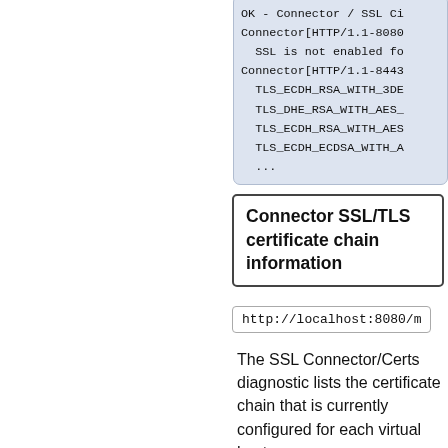[Figure (screenshot): Code block showing SSL connector output, partially visible, with lines: OK - Connector / SSL Ci..., Connector[HTTP/1.1-8080..., SSL is not enabled fo..., Connector[HTTP/1.1-8443..., TLS_ECDH_RSA_WITH_3DE..., TLS_DHE_RSA_WITH_AES_..., TLS_ECDH_RSA_WITH_AES..., TLS_ECDH_ECDSA_WITH_A..., ...]
Connector SSL/TLS certificate chain information
http://localhost:8080/m
The SSL Connector/Certs diagnostic lists the certificate chain that is currently configured for each virtual host.
The response will look something like this:
[Figure (screenshot): Code block showing start of certificate diagnostic output: OK - Connector / Certif... Connector[HTTP/1.1-8080...]